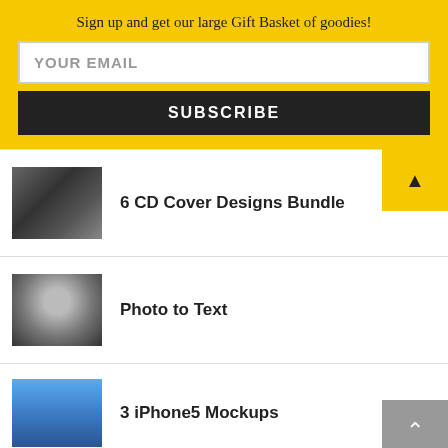Sign up and get our large Gift Basket of goodies!
YOUR EMAIL
SUBSCRIBE
6 CD Cover Designs Bundle
Photo to Text
3 iPhone5 Mockups
This website uses cookies to improve your experience. We'll assume you're ok with this, but it's up to you.
Accept
Privacy & Cookies